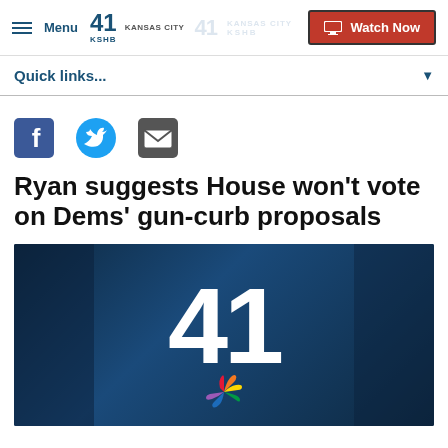Menu | 41 KSHB Kansas City | Watch Now
Quick links...
[Figure (other): Social sharing icons: Facebook, Twitter, Email]
Ryan suggests House won't vote on Dems' gun-curb proposals
[Figure (other): KSHB 41 station logo image with NBC peacock on dark blue background]